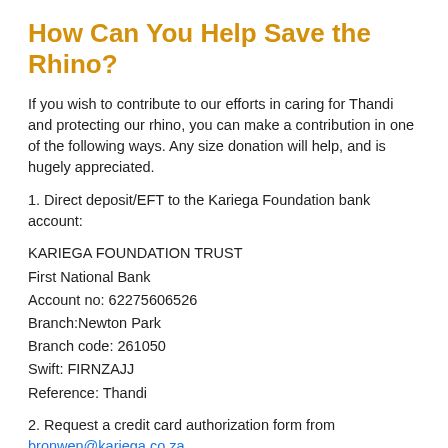How Can You Help Save the Rhino?
If you wish to contribute to our efforts in caring for Thandi and protecting our rhino, you can make a contribution in one of the following ways. Any size donation will help, and is hugely appreciated.
1. Direct deposit/EFT to the Kariega Foundation bank account:
KARIEGA FOUNDATION TRUST
First National Bank
Account no: 62275606526
Branch:Newton Park
Branch code: 261050
Swift: FIRNZAJJ
Reference: Thandi
2. Request a credit card authorization form from bronwen@kariega.co.za.